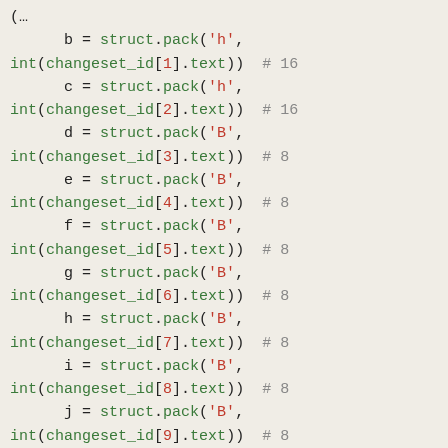Python code snippet showing struct.pack calls with changeset_id indices [1] through [10]